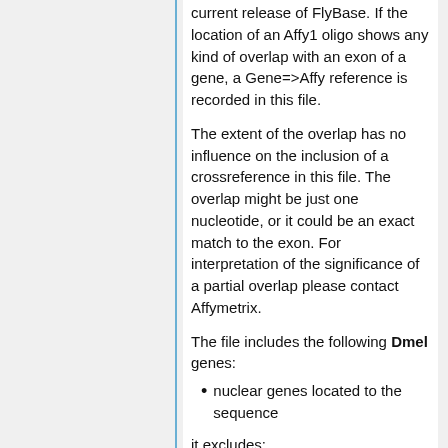current release of FlyBase. If the location of an Affy1 oligo shows any kind of overlap with an exon of a gene, a Gene=>Affy reference is recorded in this file.
The extent of the overlap has no influence on the inclusion of a crossreference in this file. The overlap might be just one nucleotide, or it could be an exact match to the exon. For interpretation of the significance of a partial overlap please contact Affymetrix.
The file includes the following Dmel genes:
nuclear genes located to the sequence
it excludes:
genes not located to the sequence
mitochondrial genes